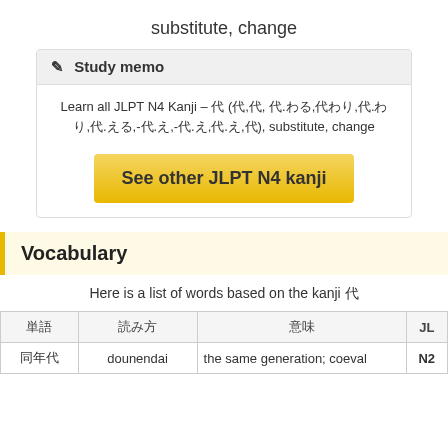substitute, change
Study memo
Learn all JLPT N4 Kanji – 代 (代,代, 代.わる,代わり,代.わり,代.える,-代.え,-代.え,代.え,代), substitute, change
See other JLPT N4 kanji
Vocabulary
Here is a list of words based on the kanji 代
| 単語 | 読み方 | 意味 | JL |
| --- | --- | --- | --- |
| 同年代 | dounendai | the same generation; coeval | N2 |